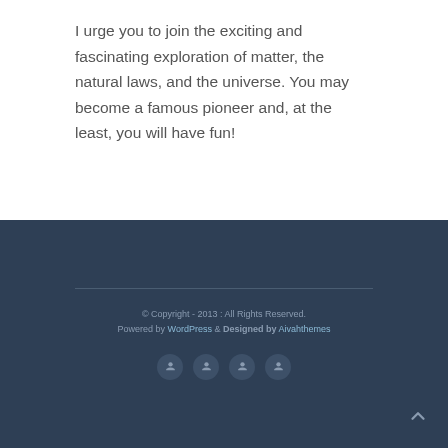I urge you to join the exciting and fascinating exploration of matter, the natural laws, and the universe. You may become a famous pioneer and, at the least, you will have fun!
© Copyright - 2013 : All Rights Reserved.
Powered by WordPress & Designed by Aivahthemes